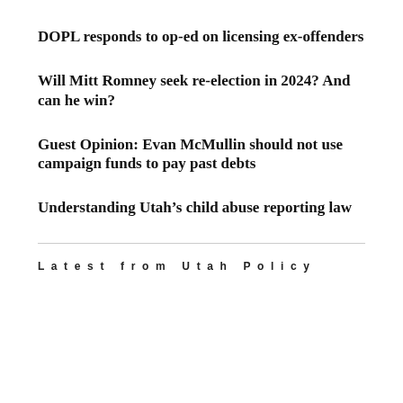DOPL responds to op-ed on licensing ex-offenders
Will Mitt Romney seek re-election in 2024? And can he win?
Guest Opinion: Evan McMullin should not use campaign funds to pay past debts
Understanding Utah’s child abuse reporting law
Latest from Utah Policy